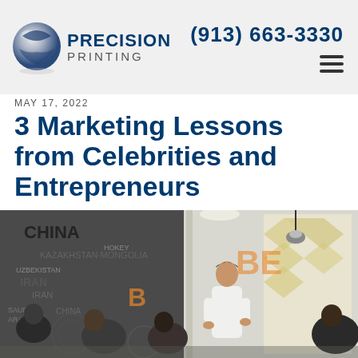Precision Printing | (913) 663-3330
MAY 17, 2022
3 Marketing Lessons from Celebrities and Entrepreneurs
[Figure (photo): A woman presenter standing at the front of a meeting room speaking to a group of seated people. A decorative word-cloud wall mural featuring countries and geography terms (CHINA, IRAN, KAZAKHSTAN, etc.) is visible on the left side. The room has modern decor with chevron-patterned dividers and orange signage letters.]